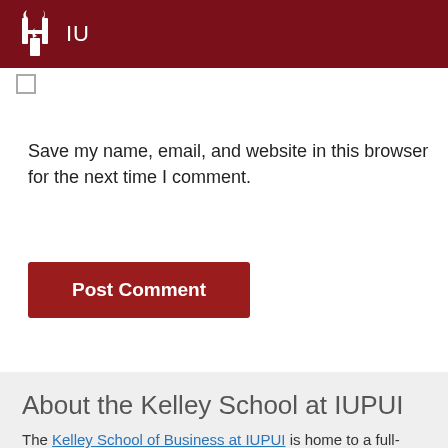IU
Save my name, email, and website in this browser for the next time I comment.
Post Comment
About the Kelley School at IUPUI
The Kelley School of Business at IUPUI is home to a full-time undergraduate program and five graduate programs, including a graduate certificate for professionals in healthcare; master's and graduate certificate programs in